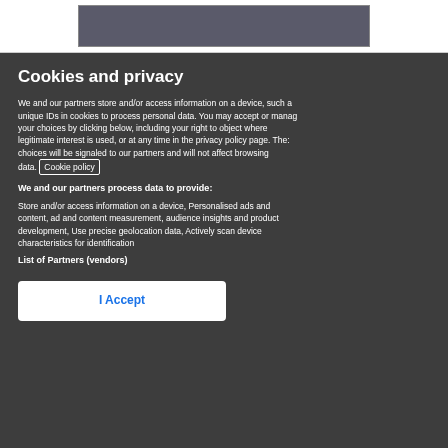[Figure (photo): Partial photo visible at top of page, showing a person in floral clothing]
Cookies and privacy
We and our partners store and/or access information on a device, such as unique IDs in cookies to process personal data. You may accept or manage your choices by clicking below, including your right to object where legitimate interest is used, or at any time in the privacy policy page. These choices will be signaled to our partners and will not affect browsing data. Cookie policy
We and our partners process data to provide:
Store and/or access information on a device, Personalised ads and content, ad and content measurement, audience insights and product development, Use precise geolocation data, Actively scan device characteristics for identification
List of Partners (vendors)
I Accept